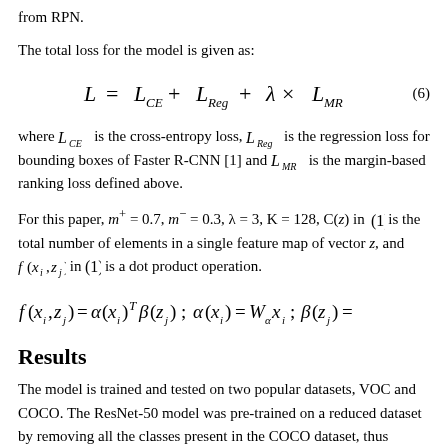from RPN.
The total loss for the model is given as:
where L_{CE} is the cross-entropy loss, L_{Reg} is the regression loss for bounding boxes of Faster R-CNN [1] and L_{MR} is the margin-based ranking loss defined above.
For this paper, m^+ = 0.7, m^- = 0.3, λ = 3, K = 128, C(z) in (1) is the total number of elements in a single feature map of vector z, and f(x_i, z_j) in (1) is a dot product operation.
Results
The model is trained and tested on two popular datasets, VOC and COCO. The ResNet-50 model was pre-trained on a reduced dataset by removing all the classes present in the COCO dataset, thus ensuring that the model has not seen any of the classes belonging to the inference images.